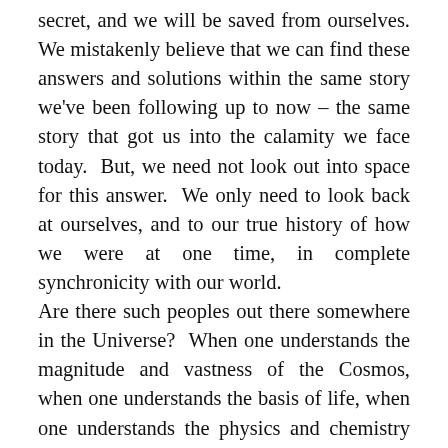secret, and we will be saved from ourselves. We mistakenly believe that we can find these answers and solutions within the same story we've been following up to now – the same story that got us into the calamity we face today.  But, we need not look out into space for this answer.  We only need to look back at ourselves, and to our true history of how we were at one time, in complete synchronicity with our world.
Are there such peoples out there somewhere in the Universe?  When one understands the magnitude and vastness of the Cosmos, when one understands the basis of life, when one understands the physics and chemistry that is ubiquitous throughout all space & time, the answer to this question can be an overwhelmingly positive possibility.  With over one hundred billion stars in our galaxy alone,